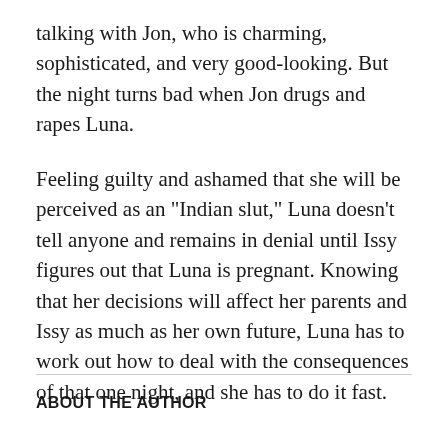talking with Jon, who is charming, sophisticated, and very good-looking. But the night turns bad when Jon drugs and rapes Luna.
Feeling guilty and ashamed that she will be perceived as an "Indian slut," Luna doesn't tell anyone and remains in denial until Issy figures out that Luna is pregnant. Knowing that her decisions will affect her parents and Issy as much as her own future, Luna has to work out how to deal with the consequences of that one night, and she has to do it fast.
ABOUT THE AUTHOR